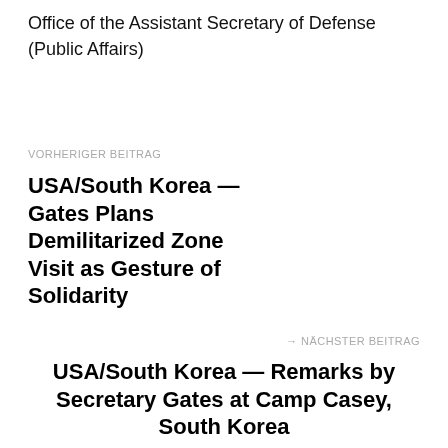Office of the Assistant Secretary of Defense (Public Affairs)
VORHERIGER BEITRAG
USA/South Korea — Gates Plans Demilitarized Zone Visit as Gesture of Solidarity
→ NÄCHSTER BEITRAG
USA/South Korea — Remarks by Secretary Gates at Camp Casey, South Korea